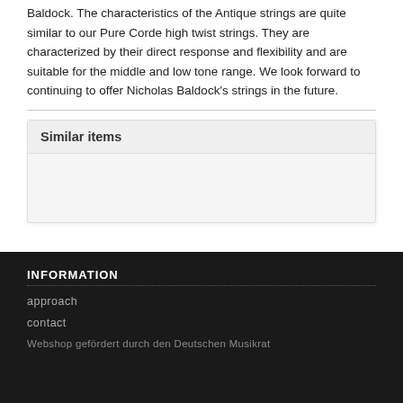Baldock. The characteristics of the Antique strings are quite similar to our Pure Corde high twist strings. They are characterized by their direct response and flexibility and are suitable for the middle and low tone range. We look forward to continuing to offer Nicholas Baldock's strings in the future.
Similar items
INFORMATION
approach
contact
Webshop gefördert durch den Deutschen Musikrat